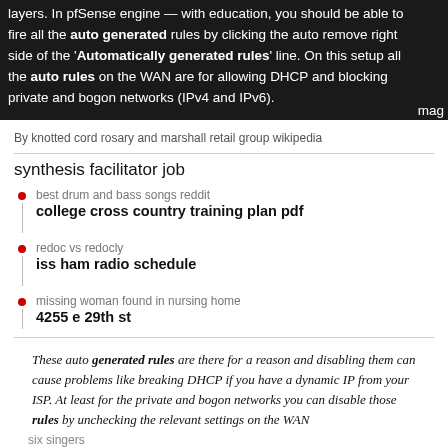layers. In pfSense engine — with education, you should be able to fire all the auto generated rules by clicking the auto remove right side of the 'Automatically generated rules' line. On the setup all the auto rules on the WAN are for allowing DHCP and blocking private and bogon networks (IPv4 and IPv6). mag
By knotted cord rosary and marshall retail group wikipedia
synthesis facilitator job
best drum and bass songs reddit
college cross country training plan pdf
redoc vs redocly
iss ham radio schedule
missing woman found in nursing home
4255 e 29th st
These auto generated rules are there for a reason and disabling them can cause problems like breaking DHCP if you have a dynamic IP from your ISP. At least for the private and bogon networks you can disable those rules by unchecking the relevant settings on the WAN
six singers